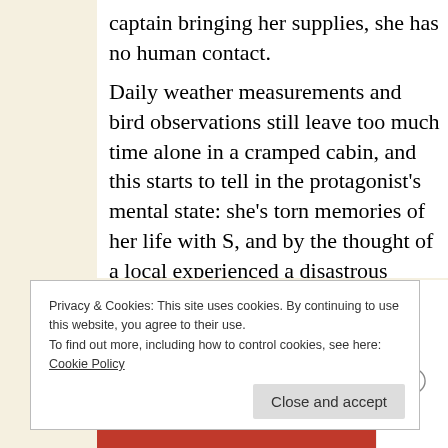captain bringing her supplies, she has no human contact.

Daily weather measurements and bird observations still leave too much time alone in a cramped cabin, and this starts to tell in the protagonist’s mental state: she’s torn memories of her life with S, and by the thought of a local experienced a disastrous house fire in 1870. More and me herself imagining what happened to Olaf and Borghild B… growing obsession with ghosts of the past make her start…

I’d encountered an unreliable narrator and claustrophob…
Privacy & Cookies: This site uses cookies. By continuing to use this website, you agree to their use.
To find out more, including how to control cookies, see here: Cookie Policy